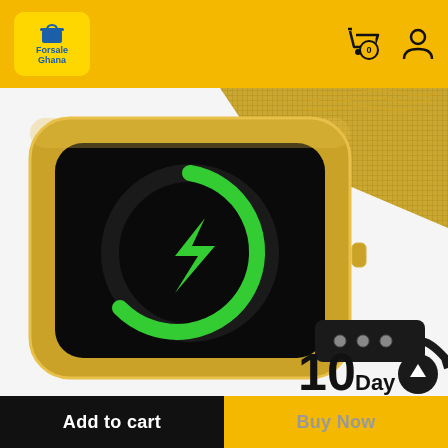[Figure (logo): Forsale Ghana logo on yellow background header bar with shopping cart and user icons]
[Figure (photo): Gold smartwatch with mesh band showing green battery/charging icon on black screen, with a magnetic charging cable in the corner. Text '10 Day' visible in bottom right.]
Add to cart
Buy Now